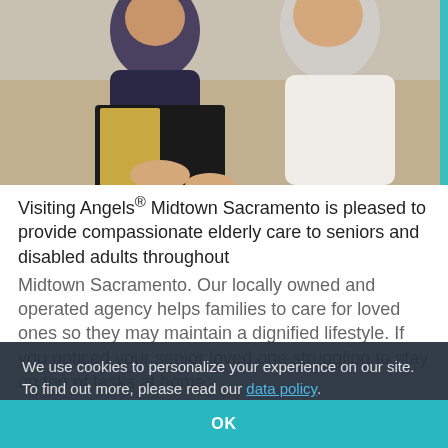[Figure (photo): Two elderly women sitting together, one reading from a black book, both smiling, with a teal accent bar on the right edge.]
Visiting Angels® Midtown Sacramento is pleased to provide compassionate elderly care to seniors and disabled adults throughout Midtown Sacramento. Our locally owned and operated agency helps families to care for loved ones so they may maintain a dignified lifestyle. If you noticed your senior loved one struggling to stay on top of tasks at home, have concerns about how much time they spend alone, or are unable to lend the
We use cookies to personalize your experience on our site. To find out more, please read our data policy.
OK